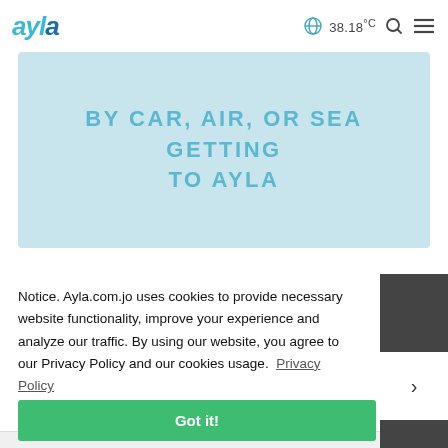ayla  38.18°C
BY CAR, AIR, OR SEA GETTING TO AYLA
Notice. Ayla.com.jo uses cookies to provide necessary website functionality, improve your experience and analyze our traffic. By using our website, you agree to our Privacy Policy and our cookies usage.  Privacy Policy
Got it!